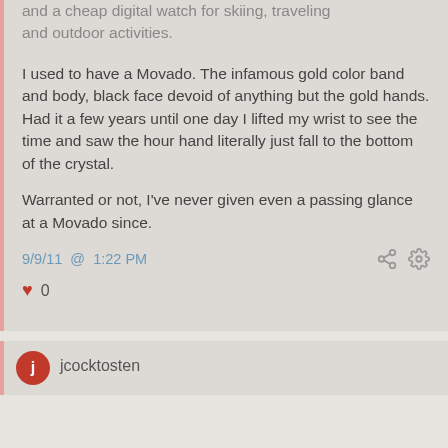and a cheap digital watch for skiing, traveling and outdoor activities.
I used to have a Movado. The infamous gold color band and body, black face devoid of anything but the gold hands. Had it a few years until one day I lifted my wrist to see the time and saw the hour hand literally just fall to the bottom of the crystal.
Warranted or not, I've never given even a passing glance at a Movado since.
9/9/11 @ 1:22 PM
0
jcocktosten